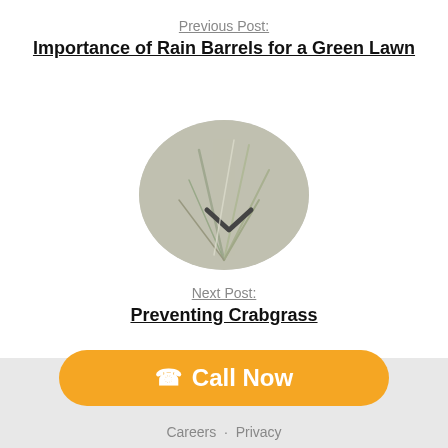Previous Post:
Importance of Rain Barrels for a Green Lawn
[Figure (photo): Oval/ellipse shaped thumbnail photo of crabgrass plant close-up, gray-green background]
Next Post:
Preventing Crabgrass
Call Now
Careers · Privacy